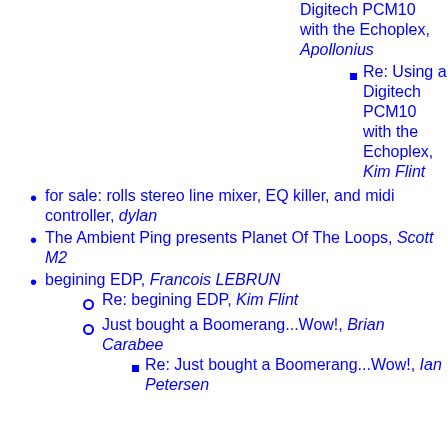Digitech PCM10 with the Echoplex, Apollonius
Re: Using a Digitech PCM10 with the Echoplex, Kim Flint
for sale: rolls stereo line mixer, EQ killer, and midi controller, dylan
The Ambient Ping presents Planet Of The Loops, Scott M2
begining EDP, Francois LEBRUN
Re: begining EDP, Kim Flint
Just bought a Boomerang...Wow!, Brian Carabee
Re: Just bought a Boomerang...Wow!, Ian Petersen